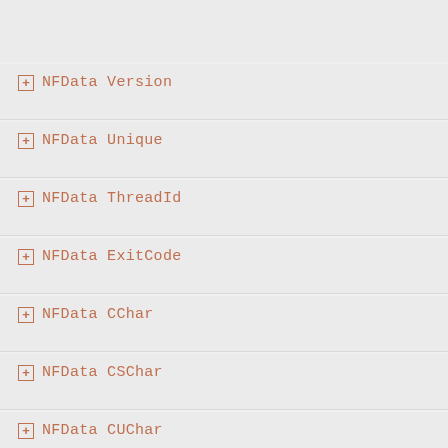NFData Version
NFData Unique
NFData ThreadId
NFData ExitCode
NFData CChar
NFData CSChar
NFData CUChar
NFData CShort
NFData CUShort
NFData CInt